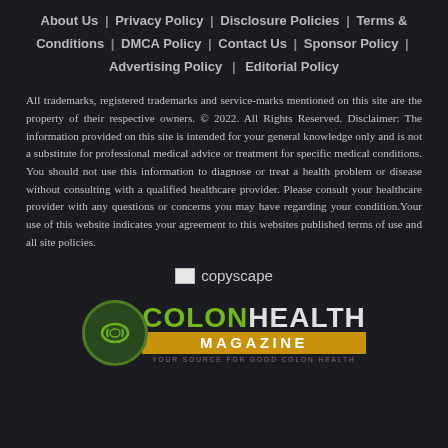About Us | Privacy Policy | Disclosure Policies | Terms & Conditions | DMCA Policy | Contact Us | Sponsor Policy | Advertising Policy | Editorial Policy
All trademarks, registered trademarks and service-marks mentioned on this site are the property of their respective owners. © 2022. All Rights Reserved. Disclaimer: The information provided on this site is intended for your general knowledge only and is not a substitute for professional medical advice or treatment for specific medical conditions. You should not use this information to diagnose or treat a health problem or disease without consulting with a qualified healthcare provider. Please consult your healthcare provider with any questions or concerns you may have regarding your condition.Your use of this website indicates your agreement to this websites published terms of use and all site policies.
[Figure (logo): Copyscape logo placeholder with small image icon and text 'copyscape']
[Figure (logo): Colon Health Magazine logo with circular green icon, COLON in green, HEALTH in white, MAGAZINE in white on gold bar, tagline YOUR SOURCE FOR GOOD COLON HEALTH]